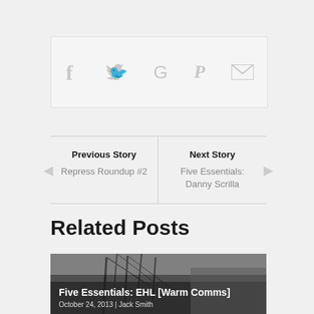[Figure (infographic): Social sharing bar with icons for Facebook, Twitter, Google+, Pinterest, and Email on a light gray background]
Previous Story
Repress Roundup #2
Next Story
Five Essentials: Danny Scrilla
Related Posts
[Figure (photo): Black and white photo of industrial or maritime construction/infrastructure with title 'Five Essentials: EHL [Warm Comms]' and date 'October 24, 2013 | Jack Smith']